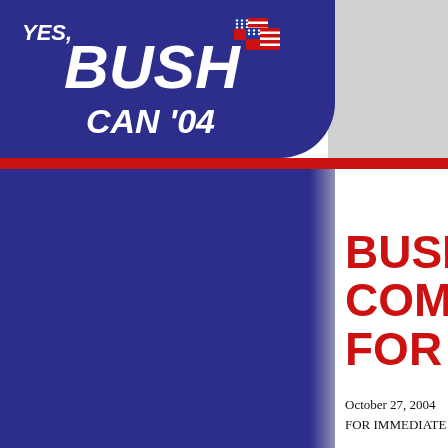[Figure (logo): Yes, Bush Can '04 campaign logo with American flags on dark blue background]
BUSH CAMPAIGN COMES FOR KERRY
October 27, 2004
FOR IMMEDIATE RELEASE
Contact
Website: http://www.yesbushcan.com/
Act: http://www.yesbushcan.com/act.shtml
BUSH CAMPAIGN GROUP ENDORSES KERRY
"Yes, Bush Can" now says "no, Bush can't!"
Yes, Bush Can, an independent group dedicated to communicating with the public, has abandoned its campaign and is officially endorsing Kerry.
Before changing sides, the Yes, Bush Can team drove across the country in a campaign bus they had equipped with sound and lighting gear, props and costumes. They gave dozens of stump speeches, led "Patriot Pledges," and performed patriotic songs to audiences.